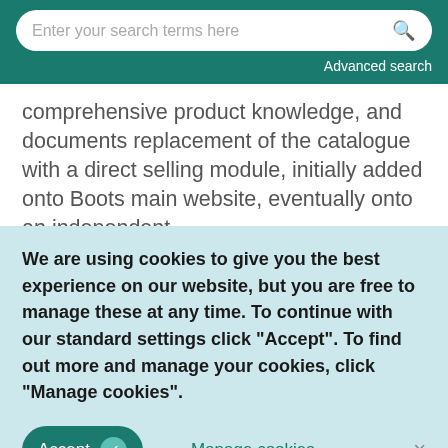Enter your search terms here  Advanced search
comprehensive product knowledge, and documents replacement of the catalogue with a direct selling module, initially added onto Boots main website, eventually onto an independent
We are using cookies to give you the best experience on our website, but you are free to manage these at any time. To continue with our standard settings click "Accept". To find out more and manage your cookies, click "Manage cookies".
Accept  Manage cookies  ×
Extends resource-based view literature.ISSN: 0263-2373Reference: 37AA220DOI: